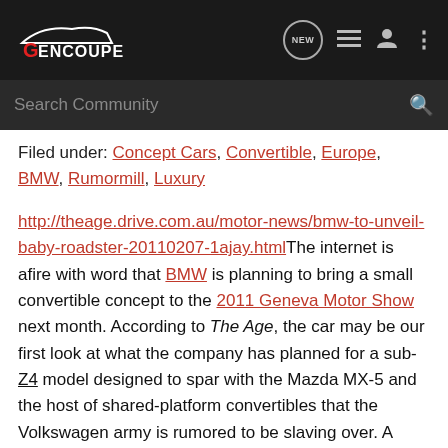[Figure (logo): GenCoupe website header with logo on dark background and navigation icons (NEW, menu, user, dots)]
[Figure (screenshot): Search Community bar on dark background with magnifying glass icon]
Filed under: Concept Cars, Convertible, Europe, BMW, Rumormill, Luxury
http://theage.drive.com.au/motor-news/bmw-to-unveil-baby-roadster-20110207-1ajay.htmlThe internet is afire with word that BMW is planning to bring a small convertible concept to the 2011 Geneva Motor Show next month. According to The Age, the car may be our first look at what the company has planned for a sub-Z4 model designed to spar with the Mazda MX-5 and the host of shared-platform convertibles that the Volkswagen army is rumored to be slaving over. A representative from BMW supposedly confirmed that a baby drop top will be the company's star attraction in Geneva this year.
BMW, meanwhile, says that the concept car itself will not go into production, but that many elements of the design...